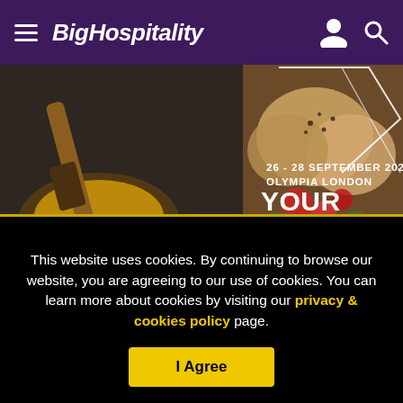BigHospitality
[Figure (photo): Advertisement banner for a hospitality trade show at Olympia London, 26-28 September 2022, with text 'YOUR RECIPE FOR SUCCESS' and a 'REGISTER NOW FOR FREE ENTRY' call to action. Background shows food images including a pastry brush in a bowl of sauce and bread rolls with tomatoes.]
This website uses cookies. By continuing to browse our website, you are agreeing to our use of cookies. You can learn more about cookies by visiting our privacy & cookies policy page.